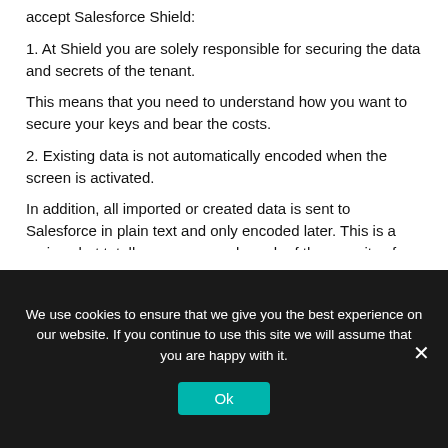accept Salesforce Shield:
1. At Shield you are solely responsible for securing the data and secrets of the tenant.
This means that you need to understand how you want to secure your keys and bear the costs.
2. Existing data is not automatically encoded when the screen is activated.
In addition, all imported or created data is sent to Salesforce in plain text and only encoded later. This is a serious but totally unnecessary breach of the security of sensitive data.
We use cookies to ensure that we give you the best experience on our website. If you continue to use this site we will assume that you are happy with it.